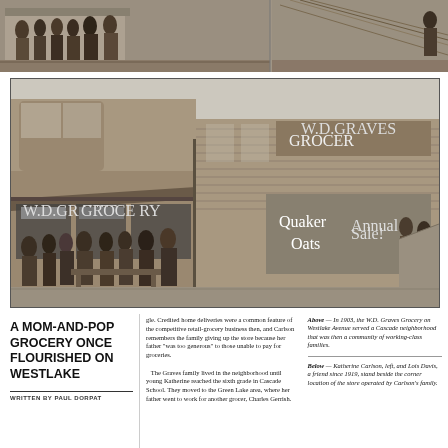[Figure (photo): Black and white historical photo strip showing people standing outside a storefront or building, early 1900s era]
[Figure (photo): Black and white historical photo of W.D. Graves Grocer store on Westlake Avenue, circa 1903, showing the corner building with a large Quaker Oats advertisement painted on the side wall. Several people stand in front of the store.]
A MOM-AND-POP GROCERY ONCE FLOURISHED ON WESTLAKE
WRITTEN BY PAUL DORPAT
gle. Credited home deliveries were a common feature of the competitive retail-grocery business then, and Carlson remembers the family giving up the store because her father "was too generous" to those unable to pay for groceries.
    The Graves family lived in the neighborhood until young Katherine reached the sixth grade in Cascade School. They moved to the Green Lake area, where her father went to work for another grocer, Charles Gerrish.
Above — In 1903, the W.D. Graves Grocery on Westlake Avenue served a Cascade neighborhood that was then a community of working-class families.
Below — Katherine Carlson, left, and Lois Davis, a friend since 1919, stand beside the corner location of the store operated by Carlson's family.